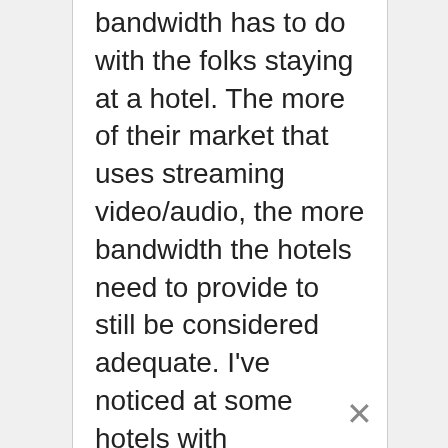bandwidth has to do with the folks staying at a hotel. The more of their market that uses streaming video/audio, the more bandwidth the hotels need to provide to still be considered adequate. I've noticed at some hotels with reasonable bandwidth in the morning or afternoon, they really slow down in the evening when folks would be watching movies, etc. That probably also explains why the extended stay brands have more issues. The longer someone stays at a hotel, the more likely they are to be watching movies in the evening instead of having a long tourist day and going to sleep so they can travel the next